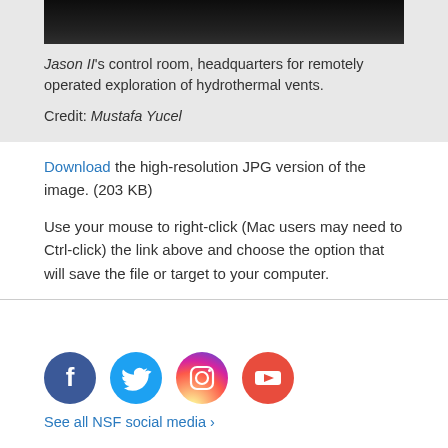[Figure (photo): Dark photo strip showing Jason II control room]
Jason II's control room, headquarters for remotely operated exploration of hydrothermal vents.

Credit: Mustafa Yucel
Download the high-resolution JPG version of the image. (203 KB)
Use your mouse to right-click (Mac users may need to Ctrl-click) the link above and choose the option that will save the file or target to your computer.
[Figure (logo): Social media icons: Facebook, Twitter, Instagram, YouTube]
See all NSF social media ›